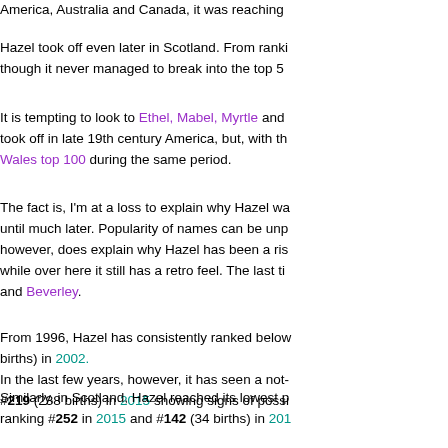America, Australia and Canada, it was reaching...
Hazel took off even later in Scotland. From ranking... though it never managed to break into the top 50...
It is tempting to look to Ethel, Mabel, Myrtle and... took off in late 19th century America, but, with th... Wales top 100 during the same period.
The fact is, I'm at a loss to explain why Hazel wa... until much later. Popularity of names can be unp... however, does explain why Hazel has been a ris... while over here it still has a retro feel. The last ti... and Beverley.
From 1996, Hazel has consistently ranked below... births) in 2002. In the last few years, however, it has seen a not-... #219 (238 births) in 2015 showing signs of possi...
Similarly, in Scotland, Hazel reached its lowest p... ranking #252 in 2015 and #142 (34 births) in 201...
Thanks to its late Victorian-Edwardian status, Ha... in New Zealand, #36 in Canada, #52 in America...
Famous Bearers
History